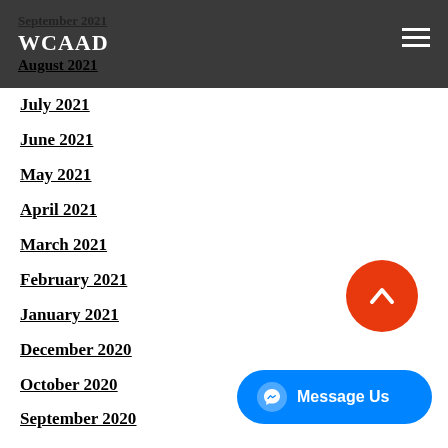September 2021 WCAAD August 2021
July 2021
June 2021
May 2021
April 2021
March 2021
February 2021
January 2021
December 2020
October 2020
September 2020
August 2020
July 2020
June 2020
May 2020
April 2020
March 2020
[Figure (other): Scroll to top button (orange circle with upward chevron) and Message Us button (blue rounded rectangle with messenger icon)]